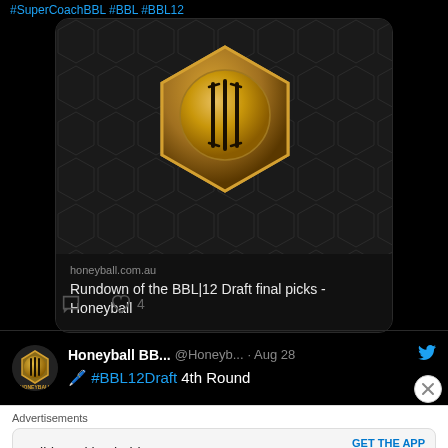#SuperCoachBBL #BBL #BBL12
[Figure (screenshot): Link card showing Honeyball BBL12 logo (gold hexagon with cricket ball motif on dark honeycomb background). Domain: honeyball.com.au. Title: Rundown of the BBL|12 Draft final picks - Honeyball]
honeyball.com.au
Rundown of the BBL|12 Draft final picks - Honeyball
[Figure (illustration): Tweet action icons: comment bubble and heart with count 4]
4
Honeyball BB... @Honeyb... · Aug 28
🖊️ #BBL12Draft 4th Round
Advertisements
Build a writing habit. Post on the go.
GET THE APP